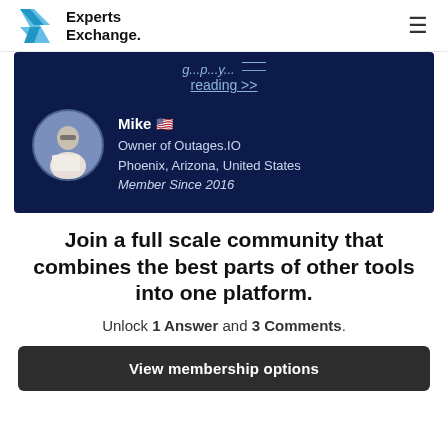Experts Exchange
[Figure (screenshot): Blue card showing partial text 'reading >>' link and user profile for Mike, Owner of Outages.IO, Phoenix, Arizona, United States, Member Since 2016]
Join a full scale community that combines the best parts of other tools into one platform.
Unlock 1 Answer and 3 Comments.
View membership options